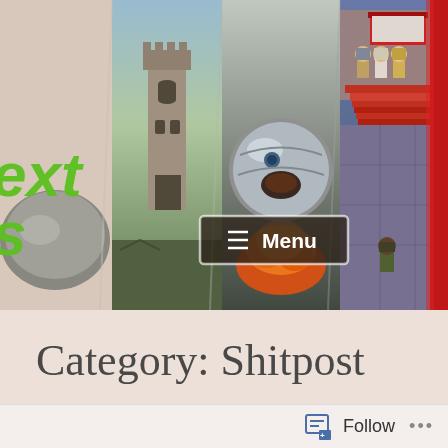[Figure (screenshot): Website header banner showing four panels: left panel with partial green italic text 'ext' and 's', a rock/boulder image; second panel with a stone castle and green field; third panel with a metallic robot/fireball character amid flames; fourth panel with an RPG game scene showing throne room with characters on red carpet stairs; a 'Menu' button overlay in center; far right shows a red curtain/flag element.]
Category: Shitpost
[Figure (screenshot): Follow bar at bottom with follow icon and 'Follow' button and '...' more options]